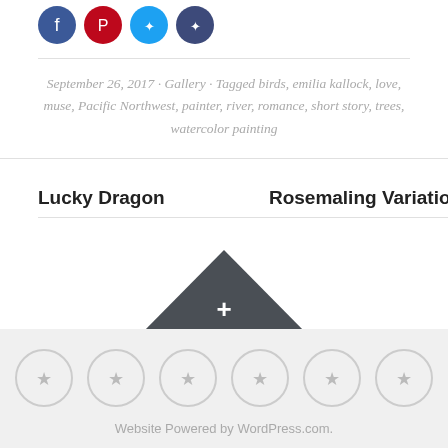[Figure (other): Social sharing icon buttons: Facebook (blue), Pinterest (red), Twitter (light blue), Share (dark blue), all circular]
September 26, 2017 · Gallery · Tagged birds, emilia kallock, love, muse, Pacific Northwest, painter, river, romance, short story, trees, watercolor painting
Lucky Dragon
Rosemaling Variation 2
[Figure (other): Dark grey upward-pointing triangle with a white plus sign in the center]
[Figure (other): Six circular star/rating icons in a grey footer bar]
Website Powered by WordPress.com.